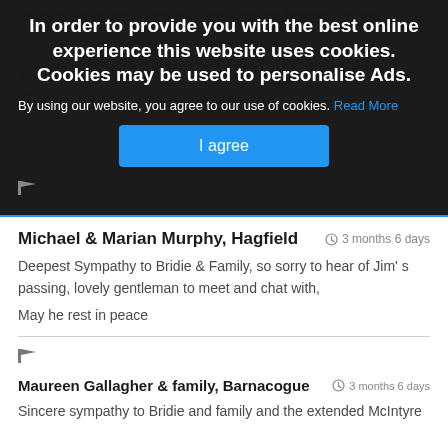on the death of your loving husband. Dad and Brother. Jim was a loving...through this sorry hope. Yes, in be are and by...
In order to provide you with the best online experience this website uses cookies. Cookies may be used to personalise Ads.
By using our website, you agree to our use of cookies. Read More
I agree
Michael & Marian Murphy, Hagfield
3 months 6 days
Deepest Sympathy to Bridie & Family, so sorry to hear of Jim' s passing, lovely gentleman to meet and chat with,
May he rest in peace
Maureen Gallagher & family, Barnacogue
3 months 6 days
Sincere sympathy to Bridie and family and the extended McIntyre...